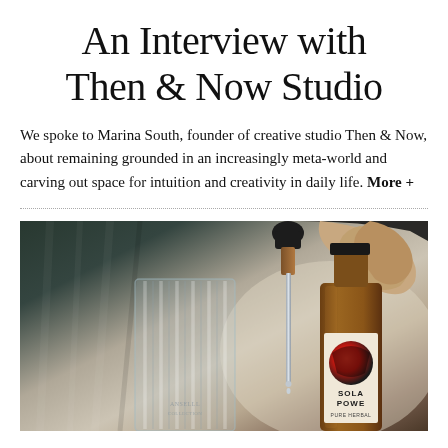An Interview with Then & Now Studio
We spoke to Marina South, founder of creative studio Then & Now, about remaining grounded in an increasingly meta-world and carving out space for intuition and creativity in daily life. More +
[Figure (photo): A photograph showing a hand holding a dropper pipette over a ribbed crystal glass tumbler, with an amber glass bottle labeled 'SOLA POWER' nearby, set against a dark draped fabric background.]